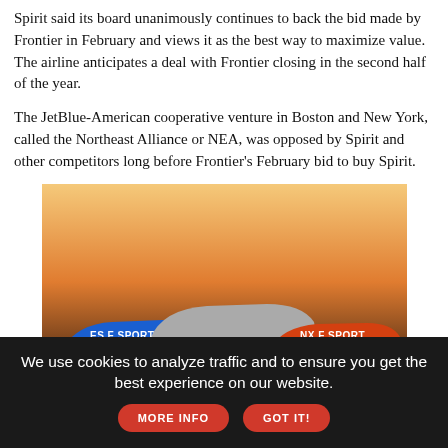Spirit said its board unanimously continues to back the bid made by Frontier in February and views it as the best way to maximize value. The airline anticipates a deal with Frontier closing in the second half of the year.
The JetBlue-American cooperative venture in Boston and New York, called the Northeast Alliance or NEA, was opposed by Spirit and other competitors long before Frontier's February bid to buy Spirit.
[Figure (photo): Lexus advertisement showing three cars (ES F SPORT, RX F SPORT, NX F SPORT) against an orange sunset background. Text reads 'ENDS SEPTEMBER 6' and 'GOLDEN OPPORTUNITY SALES EVENT'.]
We use cookies to analyze traffic and to ensure you get the best experience on our website.